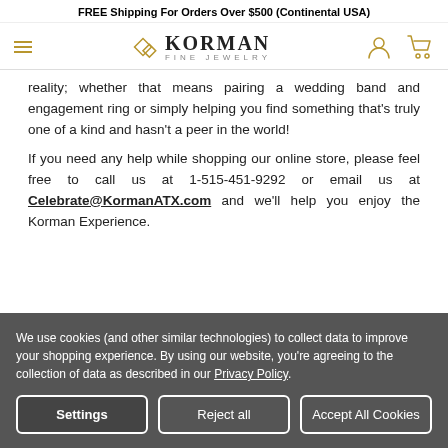FREE Shipping For Orders Over $500 (Continental USA)
[Figure (logo): Korman Fine Jewelry logo with navigation bar including hamburger menu, diamond logo icon, person icon, and cart icon]
reality; whether that means pairing a wedding band and engagement ring or simply helping you find something that's truly one of a kind and hasn't a peer in the world!
If you need any help while shopping our online store, please feel free to call us at 1-515-451-9292 or email us at Celebrate@KormanATX.com and we'll help you enjoy the Korman Experience.
We use cookies (and other similar technologies) to collect data to improve your shopping experience. By using our website, you're agreeing to the collection of data as described in our Privacy Policy.